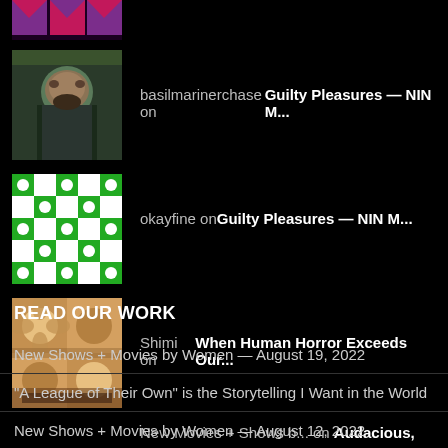[Figure (photo): Partial purple/pink geometric avatar at top]
basilmarinerchase on Guilty Pleasures — NIN M...
okayfine on Guilty Pleasures — NIN M...
Shimi on When Human Horror Exceeds Our...
New Movies + Shows b... on Audacious, Subversive, Confron...
READ OUR WORK
New Shows + Movies by Women — August 19, 2022
“A League of Their Own” is the Storytelling I Want in the World
New Shows + Movies by Women — August 12, 2022